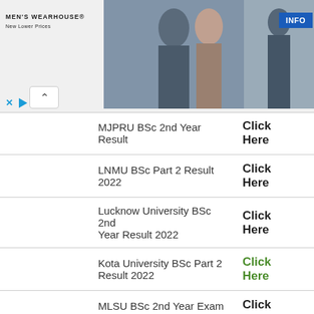[Figure (screenshot): Men's Wearhouse advertisement banner with logo, couple in formal wear, suited man, INFO button, close and play icons]
| University/Result | Link |
| --- | --- |
| MJPRU BSc 2nd Year Result | Click Here |
| LNMU BSc Part 2 Result 2022 | Click Here |
| Lucknow University BSc 2nd Year Result 2022 | Click Here |
| Kota University BSc Part 2 Result 2022 | Click Here |
| MLSU BSc 2nd Year Exam Result 2022 | Click Here |
| Agra University BSc Part 2 Result 2022 | Click Here |
| Kumaun University BSc | Click |